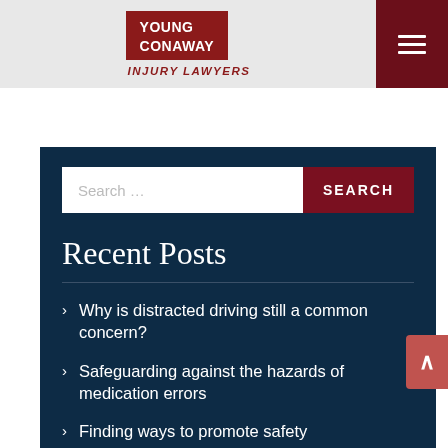YOUNG CONAWAY INJURY LAWYERS
Recent Posts
Why is distracted driving still a common concern?
Safeguarding against the hazards of medication errors
Finding ways to promote safety